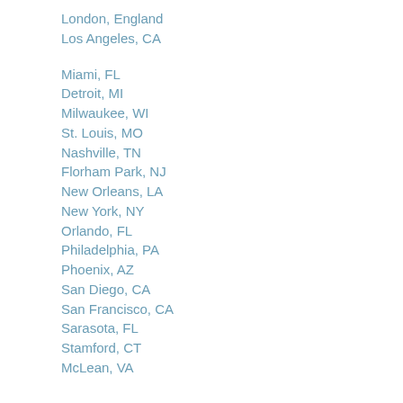London, England
Los Angeles, CA
Miami, FL
Detroit, MI
Milwaukee, WI
St. Louis, MO
Nashville, TN
Florham Park, NJ
New Orleans, LA
New York, NY
Orlando, FL
Philadelphia, PA
Phoenix, AZ
San Diego, CA
San Francisco, CA
Sarasota, FL
Stamford, CT
McLean, VA